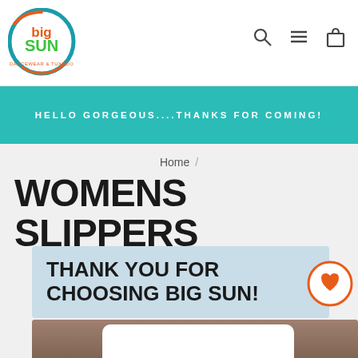[Figure (logo): Big Sun Dancewear & Tuxedo logo — circular design with orange/teal/green colors and text 'Big Sun']
HELLO GORGEOUS....THANKS FOR COMING!
Home /
WOMENS SLIPPERS
THANK YOU FOR CHOOSING BIG SUN!